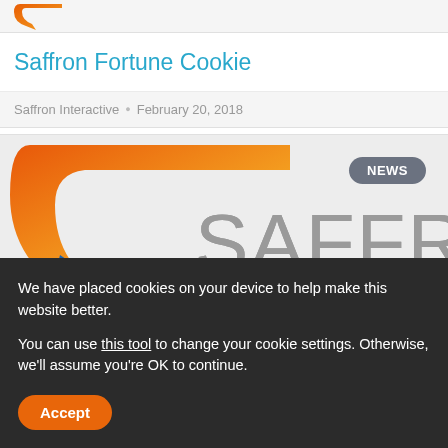[Figure (logo): Partial Saffron logo hook shape in orange/red gradient, cropped at top]
Saffron Fortune Cookie
Saffron Interactive • February 20, 2018
[Figure (logo): Large Saffron Interactive logo with orange C-shape on left and SAFFRON text in grey on right, NEWS badge in grey rounded rectangle top right]
We have placed cookies on your device to help make this website better.
You can use this tool to change your cookie settings. Otherwise, we'll assume you're OK to continue.
Accept